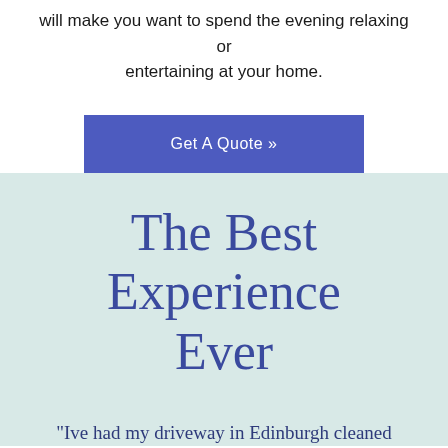will make you want to spend the evening relaxing or entertaining at your home.
Get A Quote »
The Best Experience Ever
"Ive had my driveway in Edinburgh cleaned